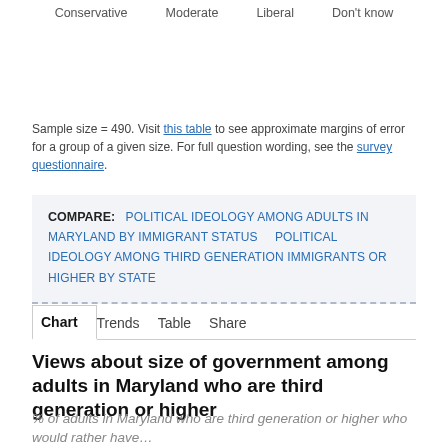Conservative    Moderate    Liberal    Don't know
Sample size = 490. Visit this table to see approximate margins of error for a group of a given size. For full question wording, see the survey questionnaire.
COMPARE: POLITICAL IDEOLOGY AMONG ADULTS IN MARYLAND BY IMMIGRANT STATUS    POLITICAL IDEOLOGY AMONG THIRD GENERATION IMMIGRANTS OR HIGHER BY STATE
Chart    Trends    Table    Share
Views about size of government among adults in Maryland who are third generation or higher
% of adults in Maryland who are third generation or higher who would rather have…